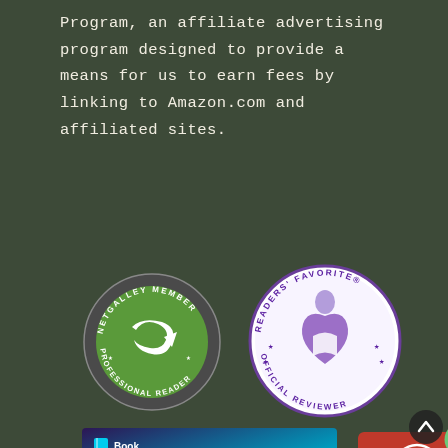Program, an affiliate advertising program designed to provide a means for us to earn fees by linking to Amazon.com and affiliated sites.
[Figure (logo): NetGalley Member Professional Reader circular badge with green swoosh logo]
[Figure (logo): Readers' Favorite Official Reviewer circular badge with purple figure holding heart]
[Figure (logo): Book Depository free delivery worldwide, 19 million books banner]
[Figure (logo): Featured on banner with red background and butterfly icon, with green checkmark badge]